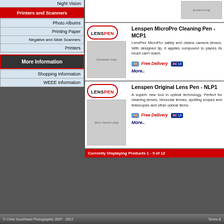Night Vision
Printers and Scanners
Photo Albums
Printing Paper
Negative and Slide Scanners
Printers
More Information
Shopping Information
WEEE Information
Lenspen MicroPro Cleaning Pen - MCP1
LensPen MicroPro safely and cleans camera lenses. With designed tip, it applies compound to places its brush can't reach.
Free Delivery
More..
Lenspen Original Lens Pen - NLP1
A superb new tool in optical technology. Perfect for cleaning lenses, binocular lenses, spotting scopes and telescopes and other optical items.
Free Delivery
More..
Currently Displaying Products 1 - 5 of 12
© Chris Goodhead Photographic 2007 - 2012
Terms &